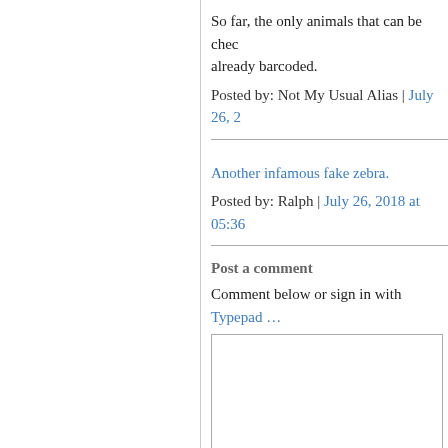So far, the only animals that can be checked are ones already barcoded.
Posted by: Not My Usual Alias | July 26, 2...
Another infamous fake zebra.
Posted by: Ralph | July 26, 2018 at 05:36...
Post a comment
Comment below or sign in with Typepad ...
(You can use HTML tags like <b> <i> and <ul> to...
Your Information